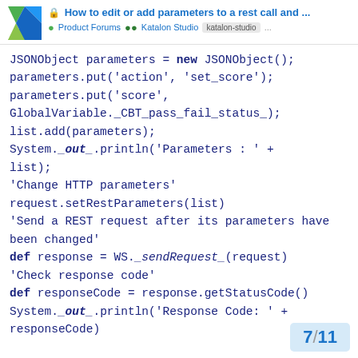How to edit or add parameters to a rest call and ... • Product Forums •• Katalon Studio katalon-studio ...
JSONObject parameters = **new** JSONObject();
parameters.put('action', 'set_score');
parameters.put('score',
GlobalVariable._CBT_pass_fail_status_);
list.add(parameters);
System.**_out_**.println('Parameters : ' +
list);
'Change HTTP parameters'
request.setRestParameters(list)
'Send a REST request after its parameters have been changed'
**def** response = WS._sendRequest_(request)
'Check response code'
**def** responseCode = response.getStatusCode()
System.**_out_**.println('Response Code: ' +
responseCode)
7 / 11